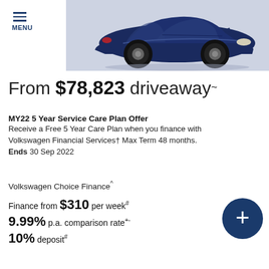MENU
[Figure (illustration): Dark navy blue Volkswagen Arteon sedan shown in side profile against a light grey background]
From $78,823 driveaway~
MY22 5 Year Service Care Plan Offer
Receive a Free 5 Year Care Plan when you finance with Volkswagen Financial Services† Max Term 48 months. Ends 30 Sep 2022
Volkswagen Choice Finance^
Finance from $310 per week#
9.99% p.a. comparison rate+- 
10% deposit#